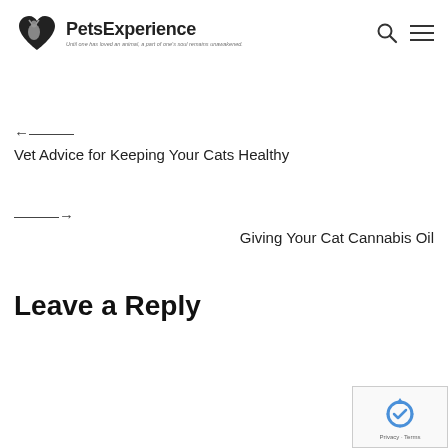PetsExperience — Until one has loved an animal, a part of one's soul remains unawakened.
← Vet Advice for Keeping Your Cats Healthy
→ Giving Your Cat Cannabis Oil
Leave a Reply
[Figure (logo): reCAPTCHA logo with Privacy and Terms text]